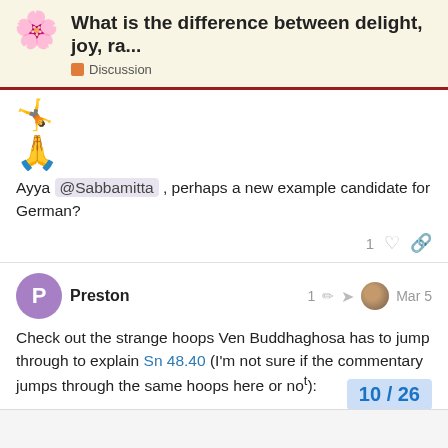What is the difference between delight, joy, ra... Discussion
🤸 🙏 Ayya @Sabbamitta , perhaps a new example candidate for German?
1 ♡ 🔗
Preston 1 ✏ ➤ Mar 5
Check out the strange hoops Ven Buddhaghosa has to jump through to explain Sn 48.40 (I'm not sure if the commentary jumps through the same hoops here or not):
10 / 26